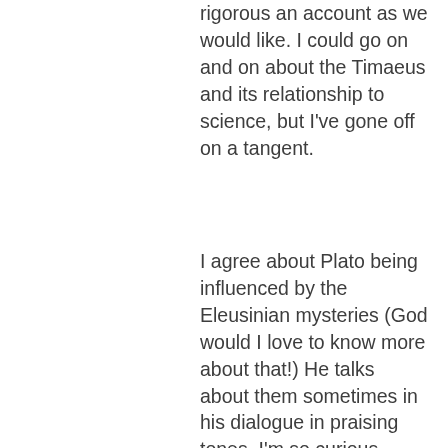rigorous an account as we would like. I could go on and on about the Timaeus and its relationship to science, but I've gone off on a tangent.
I agree about Plato being influenced by the Eleusinian mysteries (God would I love to know more about that!) He talks about them sometimes in his dialogue in praising tones. I'm so curious about this. From what I've read, it involves something violent and shocking, and also involves drinking a possibly